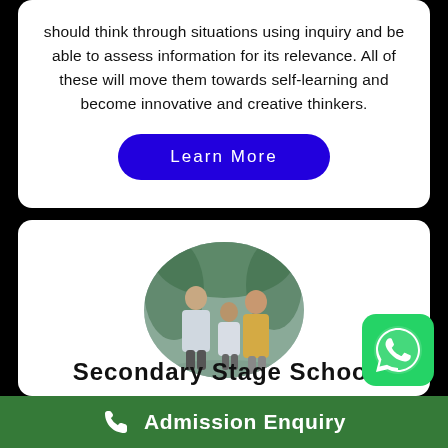should think through situations using inquiry and be able to assess information for its relevance. All of these will move them towards self-learning and become innovative and creative thinkers.
[Figure (other): Blue rounded rectangle button labeled 'Learn More']
[Figure (photo): Circular cropped photo of school students and teacher standing together outdoors in school uniforms]
[Figure (logo): WhatsApp icon: green rounded square with white phone handset speech bubble logo]
Secondary Stage School
Admission Enquiry